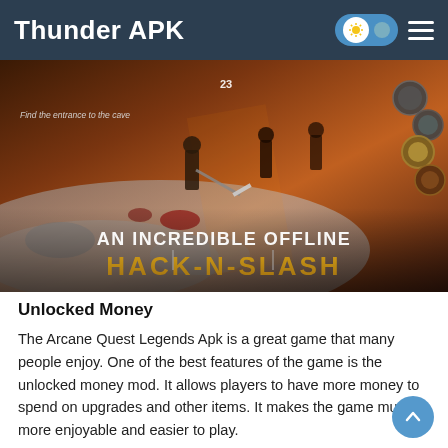Thunder APK
[Figure (screenshot): Game screenshot for Arcane Quest Legends showing hack-and-slash gameplay with text 'AN INCREDIBLE OFFLINE HACK-N-SLASH']
Unlocked Money
The Arcane Quest Legends Apk is a great game that many people enjoy. One of the best features of the game is the unlocked money mod. It allows players to have more money to spend on upgrades and other items. It makes the game much more enjoyable and easier to play.